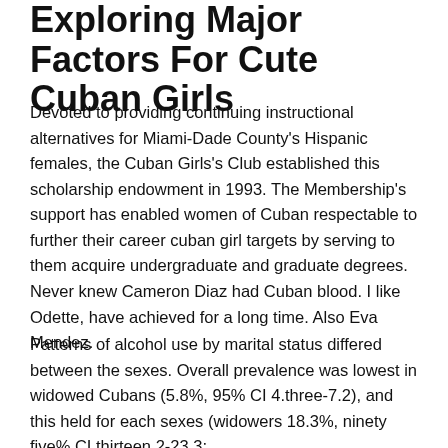Exploring Major Factors For Cute Cuban Girls
Devoted to providing continuing instructional alternatives for Miami-Dade County's Hispanic females, the Cuban Girls's Club established this scholarship endowment in 1993. The Membership's support has enabled women of Cuban respectable to further their career cuban girl targets by serving to them acquire undergraduate and graduate degrees. Never knew Cameron Diaz had Cuban blood. I like Odette, have achieved for a long time. Also Eva Mendez.
Patterns of alcohol use by marital status differed between the sexes. Overall prevalence was lowest in widowed Cubans (5.8%, 95% CI 4.three-7.2), and this held for each sexes (widowers 18.3%, ninety five% CI thirteen.2-23.3;